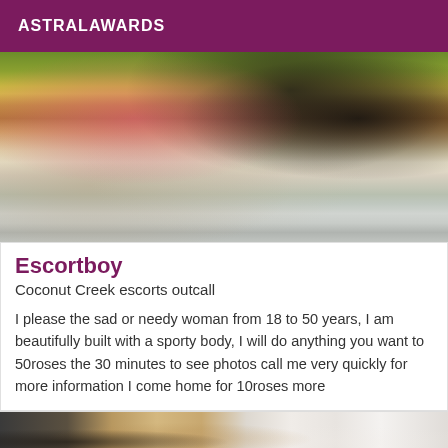ASTRALAWARDS
[Figure (photo): A person in a pink top and dark clothing photographing themselves in a mirror, partially cropped]
Escortboy
Coconut Creek escorts outcall
I please the sad or needy woman from 18 to 50 years, I am beautifully built with a sporty body, I will do anything you want to 50roses the 30 minutes to see photos call me very quickly for more information I come home for 10roses more
[Figure (photo): Partial view of a person's face and upper body, cropped at bottom of page]